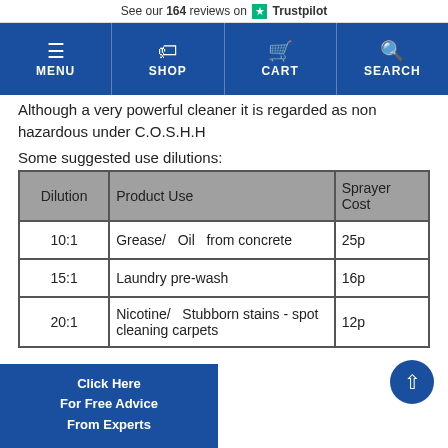See our 164 reviews on ★ Trustpilot
[Figure (screenshot): Navigation bar with MENU, SHOP, CART, SEARCH icons on blue background]
Although a very powerful cleaner it is regarded as non hazardous under C.O.S.H.H
Some suggested use dilutions:
| Dilution | Product Use | Sprayer Cost |
| --- | --- | --- |
| 10:1 | Grease/ Oil from concrete | 25p |
| 15:1 | Laundry pre-wash | 16p |
| 20:1 | Nicotine/ Stubborn stains - spot cleaning carpets | 12p |
Click Here For Free Advice From Experts